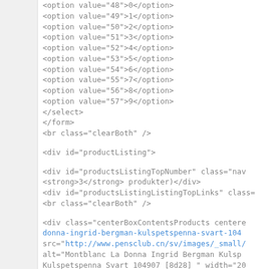<option value="48">0</option>
<option value="49">1</option>
<option value="50">2</option>
<option value="51">3</option>
<option value="52">4</option>
<option value="53">5</option>
<option value="54">6</option>
<option value="55">7</option>
<option value="56">8</option>
<option value="57">9</option>
</select>
</form>
<br class="clearBoth" />
<div id="productListing">
<div id="productsListingTopNumber" class="nav...
<strong>3</strong> produkter)</div>
<div id="productsListingListingTopLinks" class=...
<br class="clearBoth" />
<div class="centerBoxContentsProducts centere...
donna-ingrid-bergman-kulspetspenna-svart-104...
src="http://www.pensclub.cn/sv/images/_small/...
alt="Montblanc La Donna Ingrid Bergman Kulsp...
Kulspetspenna Svart 104907 [8d28] " width="20...
class="itemTitle"><a href="http://www.pensclub....
227.html">Montblanc La Donna Ingrid Bergman...
/><span class="normalprice">SEK 3,386 </span...
class="productPriceDiscount"><br />Spara...